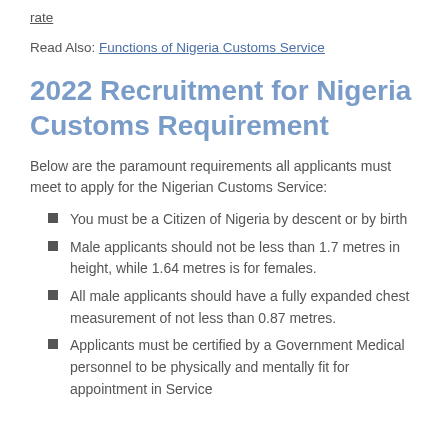rate
Read Also: Functions of Nigeria Customs Service
2022 Recruitment for Nigeria Customs Requirement
Below are the paramount requirements all applicants must meet to apply for the Nigerian Customs Service:
You must be a Citizen of Nigeria by descent or by birth
Male applicants should not be less than 1.7 metres in height, while 1.64 metres is for females.
All male applicants should have a fully expanded chest measurement of not less than 0.87 metres.
Applicants must be certified by a Government Medical personnel to be physically and mentally fit for appointment in Service